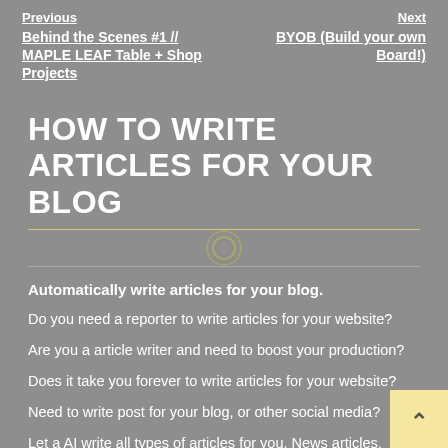Previous | Behind the Scenes #1 // MAPLE LEAF Table + Shop Projects | Next | BYOB (Build your own Board!)
HOW TO WRITE ARTICLES FOR YOUR BLOG
Automatically write articles for your blog. Do you need a reporter to write articles for your website? Are you a article writer and need to boost your production? Does it take you forever to write articles for your website? Need to write post for your blog, or other social media? Let a AI write all types of articles for you. News articles,